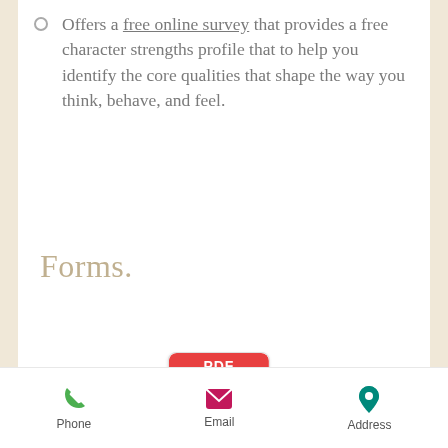Offers a free online survey that provides a free character strengths profile that to help you identify the core qualities that shape the way you think, behave, and feel.
Forms.
[Figure (illustration): PDF icon for Adobe Acrobat file — red header with 'PDF' text, white document body with red Acrobat logo symbol]
Client Bill of Rights
[Figure (illustration): Second PDF icon for Adobe Acrobat file — partially visible at bottom]
Phone   Email   Address